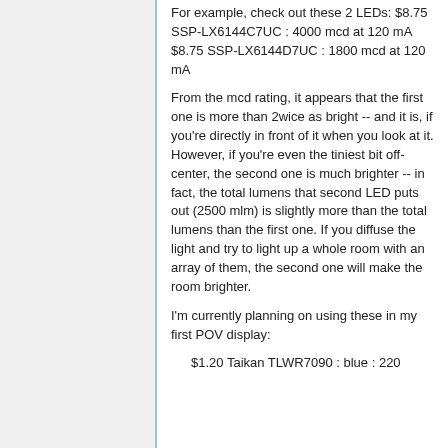For example, check out these 2 LEDs: $8.75 SSP-LX6144C7UC : 4000 mcd at 120 mA $8.75 SSP-LX6144D7UC : 1800 mcd at 120 mA
From the mcd rating, it appears that the first one is more than 2wice as bright -- and it is, if you're directly in front of it when you look at it. However, if you're even the tiniest bit off-center, the second one is much brighter -- in fact, the total lumens that second LED puts out (2500 mlm) is slightly more than the total lumens than the first one. If you diffuse the light and try to light up a whole room with an array of them, the second one will make the room brighter.
I'm currently planning on using these in my first POV display:
$1.20 Taikan TLWR7090 : blue : 220...